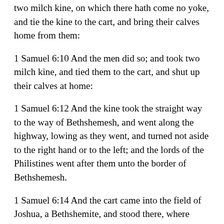two milch kine, on which there hath come no yoke, and tie the kine to the cart, and bring their calves home from them:
1 Samuel 6:10 And the men did so; and took two milch kine, and tied them to the cart, and shut up their calves at home:
1 Samuel 6:12 And the kine took the straight way to the way of Bethshemesh, and went along the highway, lowing as they went, and turned not aside to the right hand or to the left; and the lords of the Philistines went after them unto the border of Bethshemesh.
1 Samuel 6:14 And the cart came into the field of Joshua, a Bethshemite, and stood there, where there was a great stone: and they clave the wood of the cart, and offered the kine a burnt offering unto the LORD.
2 Samuel 17:29 And honey, and butter, and sheep, and